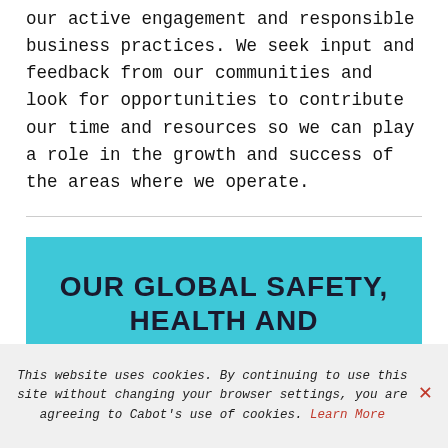our active engagement and responsible business practices. We seek input and feedback from our communities and look for opportunities to contribute our time and resources so we can play a role in the growth and success of the areas where we operate.
OUR GLOBAL SAFETY, HEALTH AND
This website uses cookies. By continuing to use this site without changing your browser settings, you are agreeing to Cabot's use of cookies. Learn More